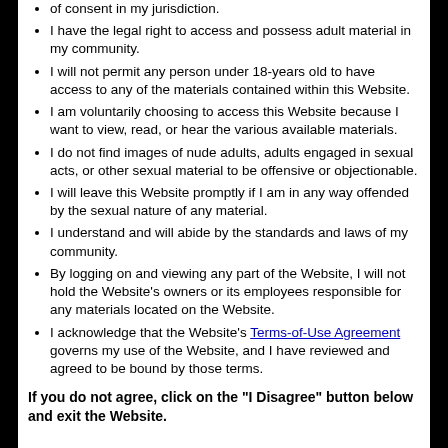of consent in my jurisdiction.
I have the legal right to access and possess adult material in my community.
I will not permit any person under 18-years old to have access to any of the materials contained within this Website.
I am voluntarily choosing to access this Website because I want to view, read, or hear the various available materials.
I do not find images of nude adults, adults engaged in sexual acts, or other sexual material to be offensive or objectionable.
I will leave this Website promptly if I am in any way offended by the sexual nature of any material.
I understand and will abide by the standards and laws of my community.
By logging on and viewing any part of the Website, I will not hold the Website's owners or its employees responsible for any materials located on the Website.
I acknowledge that the Website's Terms-of-Use Agreement governs my use of the Website, and I have reviewed and agreed to be bound by those terms.
If you do not agree, click on the "I Disagree" button below and exit the Website.